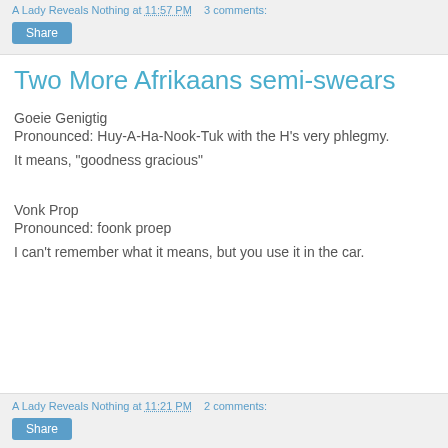A Lady Reveals Nothing at 11:57 PM   3 comments:
Two More Afrikaans semi-swears
Goeie Genigtig
Pronounced: Huy-A-Ha-Nook-Tuk with the H's very phlegmy.
It means, "goodness gracious"
Vonk Prop
Pronounced: foonk proep
I can't remember what it means, but you use it in the car.
A Lady Reveals Nothing at 11:21 PM   2 comments: